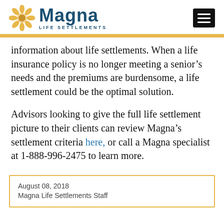Magna Life Settlements
information about life settlements. When a life insurance policy is no longer meeting a senior’s needs and the premiums are burdensome, a life settlement could be the optimal solution.
Advisors looking to give the full life settlement picture to their clients can review Magna’s settlement criteria here, or call a Magna specialist at 1-888-996-2475 to learn more.
August 08, 2018
Magna Life Settlements Staff